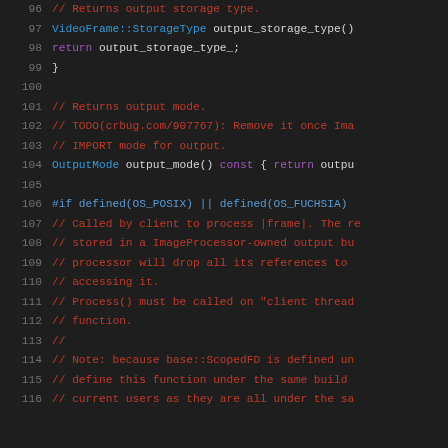Source code listing lines 96-116, C++ header file with VideoFrame and ImageProcessor code